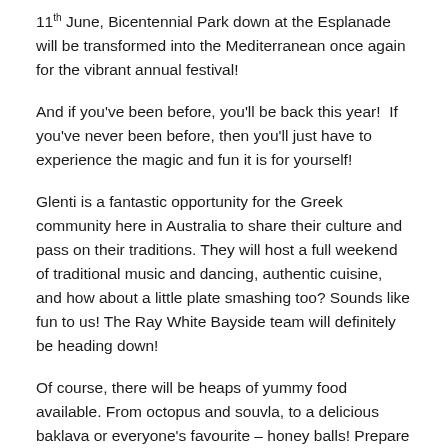11th June, Bicentennial Park down at the Esplanade will be transformed into the Mediterranean once again for the vibrant annual festival!
And if you've been before, you'll be back this year!  If you've never been before, then you'll just have to experience the magic and fun it is for yourself!
Glenti is a fantastic opportunity for the Greek community here in Australia to share their culture and pass on their traditions. They will host a full weekend of traditional music and dancing, authentic cuisine, and how about a little plate smashing too? Sounds like fun to us! The Ray White Bayside team will definitely be heading down!
Of course, there will be heaps of yummy food available. From octopus and souvla, to a delicious baklava or everyone's favourite – honey balls! Prepare to feast at affordable prices! Cooking demos will be happening throughout the day too, should you ever want to get your Greek on in the kitchen at home. Imagine that!